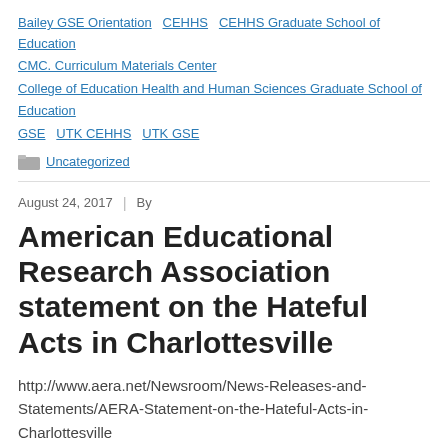Bailey GSE Orientation   CEHHS   CEHHS Graduate School of Education   CMC. Curriculum Materials Center
College of Education Health and Human Sciences Graduate School of Education
GSE   UTK CEHHS   UTK GSE
Uncategorized
August 24, 2017  |  By
American Educational Research Association statement on the Hateful Acts in Charlottesville
http://www.aera.net/Newsroom/News-Releases-and-Statements/AERA-Statement-on-the-Hateful-Acts-in-Charlottesville
Uncategorized